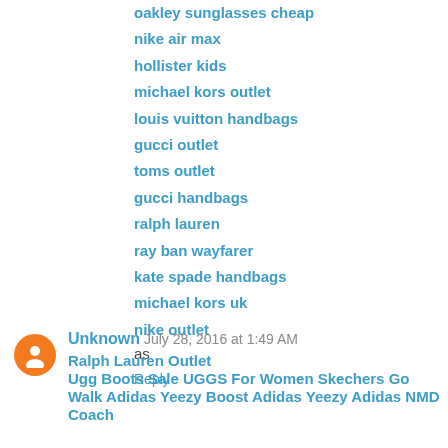oakley sunglasses cheap
nike air max
hollister kids
michael kors outlet
louis vuitton handbags
gucci outlet
toms outlet
gucci handbags
ralph lauren
ray ban wayfarer
kate spade handbags
michael kors uk
nike outlet
as
Reply
Unknown  July 28, 2016 at 1:49 AM
Ralph Lauren Outlet
Ugg Boots Sale UGGS For Women Skechers Go Walk Adidas Yeezy Boost Adidas Yeezy Adidas NMD Coach